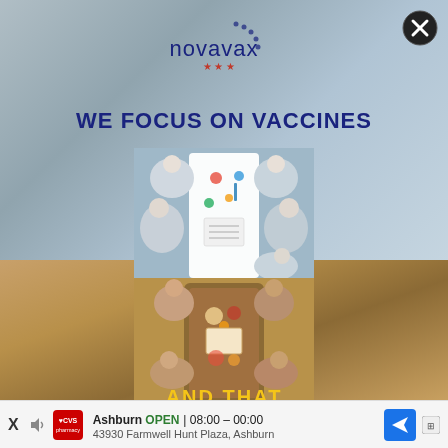[Figure (logo): Novavax logo with dotted circular arrangement of stars/dots around the brand name]
WE FOCUS ON VACCINES
[Figure (photo): Overhead/top-down view of scientists in white lab coats working around a white table with lab materials, specimens, and research papers. Below that, a second overhead view of people sitting around a warm wooden table with food/colorful items.]
AND THAT
X
Ashburn   OPEN  08:00 – 00:00   43930 Farmwell Hunt Plaza, Ashburn